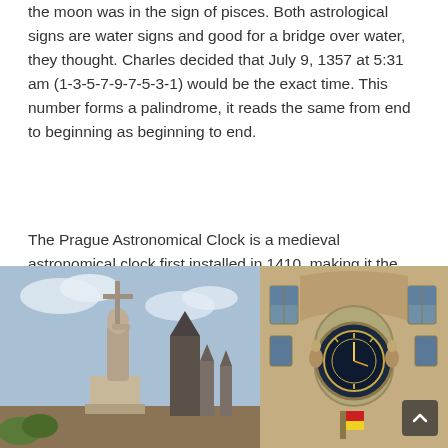the moon was in the sign of pisces. Both astrological signs are water signs and good for a bridge over water, they thought. Charles decided that July 9, 1357 at 5:31 am (1-3-5-7-9-7-5-3-1) would be the exact time. This number forms a palindrome, it reads the same from end to beginning as beginning to end.
The Prague Astronomical Clock is a medieval astronomical clock first installed in 1410, making it the third-oldest astronomical clock in the world and the oldest clock still operating.
[Figure (photo): A stone statue holding a cross on a bridge with Gothic towers and church spires visible in the background under a blue sky with clouds.]
[Figure (photo): The Prague Astronomical Clock mounted on the facade of the Old Town Hall, showing the ornate clock face with Gothic architectural details.]